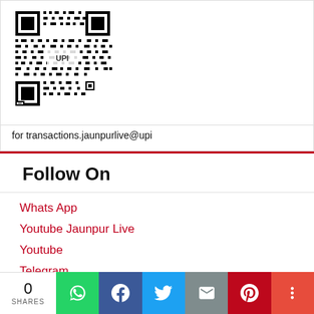[Figure (other): QR code for UPI payment with 'UPI' text in center, black and white pattern]
for transactions.jaunpurlive@upi
Follow On
Whats App
Youtube Jaunpur Live
Youtube
Telegram
Instagram
Twitter